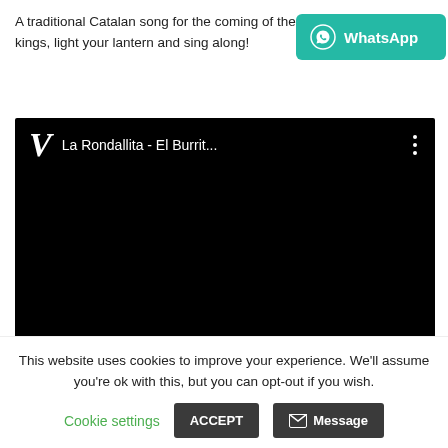A traditional Catalan song for the coming of the kings, light your lantern and sing along!
[Figure (screenshot): WhatsApp share button, teal/green background with WhatsApp icon and text 'WhatsApp']
[Figure (screenshot): Embedded video player (black background) titled 'La Rondallita - El Burrit...' with a white V logo and three-dot menu icon]
This website uses cookies to improve your experience. We'll assume you're ok with this, but you can opt-out if you wish.
Cookie settings
ACCEPT
Message